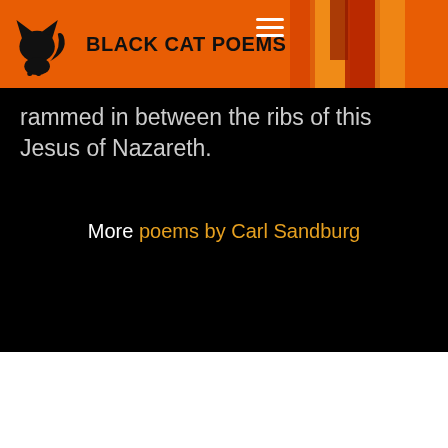BLACK CAT POEMS
rammed in between the ribs of this Jesus of Nazareth.
More poems by Carl Sandburg